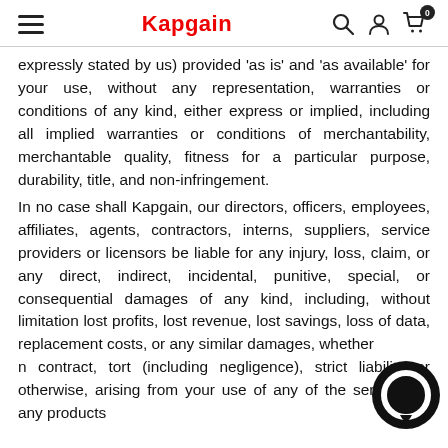Kapgain
expressly stated by us) provided 'as is' and 'as available' for your use, without any representation, warranties or conditions of any kind, either express or implied, including all implied warranties or conditions of merchantability, merchantable quality, fitness for a particular purpose, durability, title, and non-infringement.
In no case shall Kapgain, our directors, officers, employees, affiliates, agents, contractors, interns, suppliers, service providers or licensors be liable for any injury, loss, claim, or any direct, indirect, incidental, punitive, special, or consequential damages of any kind, including, without limitation lost profits, lost revenue, lost savings, loss of data, replacement costs, or any similar damages, whether based in contract, tort (including negligence), strict liability or otherwise, arising from your use of any of the services or any products...